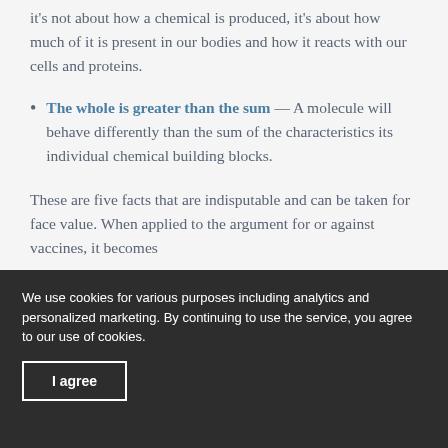it's not about how a chemical is produced, it's about how much of it is present in our bodies and how it reacts with our cells and proteins.
The whole is greater than the sum — A molecule will behave differently than the sum of the characteristics its individual chemical building blocks.
These are five facts that are indisputable and can be taken for face value. When applied to the argument for or against vaccines, it becomes
We use cookies for various purposes including analytics and personalized marketing. By continuing to use the service, you agree to our use of cookies.
I agree